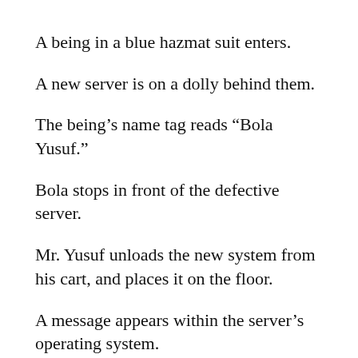A being in a blue hazmat suit enters.
A new server is on a dolly behind them.
The being’s name tag reads “Bola Yusuf.”
Bola stops in front of the defective server.
Mr. Yusuf unloads the new system from his cart, and places it on the floor.
A message appears within the server’s operating system.
“Thank you for your service.